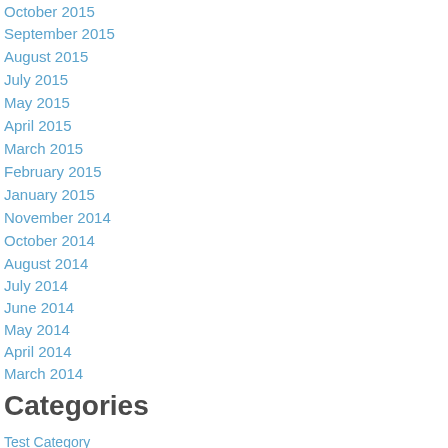October 2015
September 2015
August 2015
July 2015
May 2015
April 2015
March 2015
February 2015
January 2015
November 2014
October 2014
August 2014
July 2014
June 2014
May 2014
April 2014
March 2014
Categories
Test Category (1)